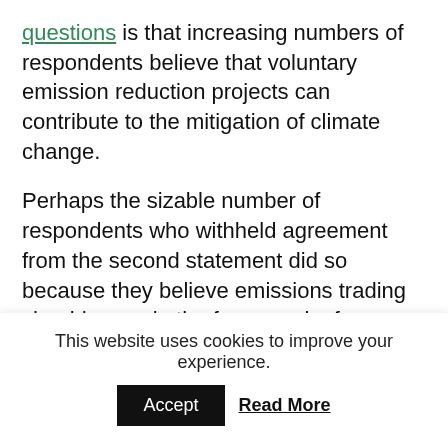questions is that increasing numbers of respondents believe that voluntary emission reduction projects can contribute to the mitigation of climate change.
Perhaps the sizable number of respondents who withheld agreement from the second statement did so because they believe emissions trading should occur in the framework of a regulatory system, and fear that lower standards in a voluntary trading system could compromise broad support for a regulatory system. The latter conclusion appears to be buttressed by responses to a third question, with which 36% of
This website uses cookies to improve your experience.
Accept  Read More